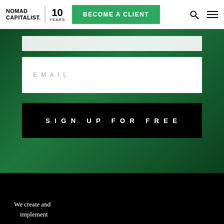NOMAD CAPITALIST. 10 YEARS | BECOME A CLIENT
[Figure (screenshot): Green-tinted background photo of a person working at a laptop, with a sign-up form overlay containing an email field and a 'SIGN UP FOR FREE' black button]
EMAIL
SIGN UP FOR FREE
We create and implement